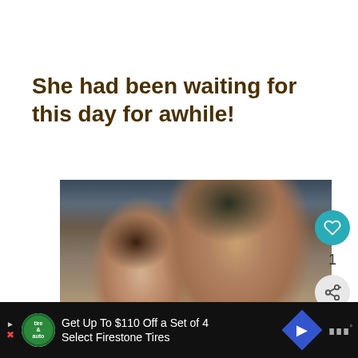She had been waiting for this day for awhile!
[Figure (photo): Close-up selfie photo of a young couple, a man and a woman, smiling together]
[Figure (infographic): What's Next thumbnail with text 'Prayer Challenge...']
Get Up To $110 Off a Set of 4 Select Firestone Tires